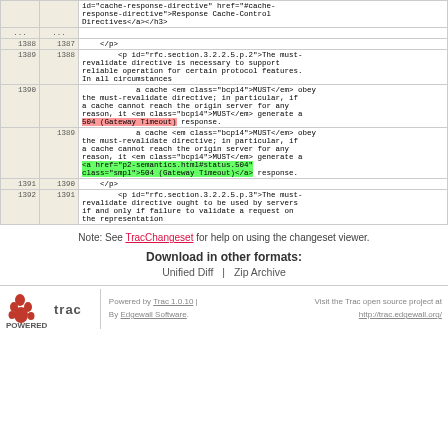| old | new | code |
| --- | --- | --- |
|  |  | id="cache-response-directive" href="#cache-response-directive">Response Cache-Control Directives</a></h3> |
| ... | ... |  |
| 1388 | 1387 |     </p> |
| 1389 | 1388 |         <p id="rfc.section.3.2.2.5.p.2">The must-revalidate directive is necessary to support reliable operation for certain protocol features. In all circumstances |
| 1390 |  |             a cache <em class="bcp14">MUST</em> obey the must-revalidate directive; in particular, if a cache cannot reach the origin server for any reason, it <em class="bcp14">MUST</em> generate a 504 (Gateway Timeout) response. |
|  | 1389 |             a cache <em class="bcp14">MUST</em> obey the must-revalidate directive; in particular, if a cache cannot reach the origin server for any reason, it <em class="bcp14">MUST</em> generate a <a href="p2-semantics.html#status.504" class="smpl">504 (Gateway Timeout)</a> response. |
| 1391 | 1390 |     </p> |
| 1392 | 1391 |         <p id="rfc.section.3.2.2.5.p.3">The must-revalidate directive ought to be used by servers if and only if failure to validate a request on the representation |
Note: See TracChangeset for help on using the changeset viewer.
Download in other formats:
Unified Diff | Zip Archive
Powered by Trac 1.0.10 | By Edgewall Software. Visit the Trac open source project at http://trac.edgewall.org/